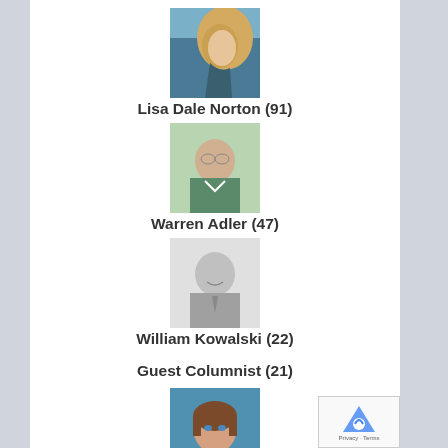[Figure (photo): Profile photo of Lisa Dale Norton, woman with blonde hair in profile view]
Lisa Dale Norton (91)
[Figure (photo): Profile photo of Warren Adler, older man in green shirt]
Warren Adler (47)
[Figure (photo): Profile photo of William Kowalski, man smiling, black and white photo]
William Kowalski (22)
Guest Columnist (21)
[Figure (photo): Profile photo of Julianne B. McCullagh, woman with short brown hair]
Julianne B. McCullagh (3)